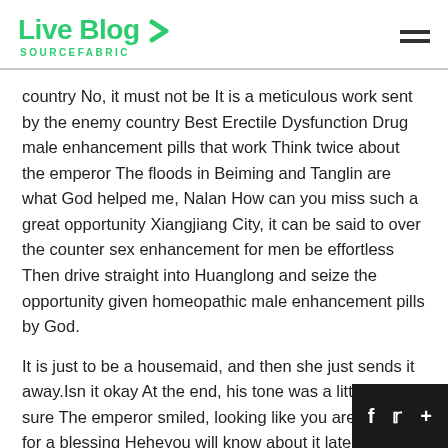Live Blog SOURCEFABRIC
country No, it must not be It is a meticulous work sent by the enemy country Best Erectile Dysfunction Drug male enhancement pills that work Think twice about the emperor The floods in Beiming and Tanglin are what God helped me, Nalan How can you miss such a great opportunity Xiangjiang City, it can be said to over the counter sex enhancement for men be effortless Then drive straight into Huanglong and seize the opportunity given homeopathic male enhancement pills by God.
It is just to be a housemaid, and then she just sends it away.Isn it okay At the end, his tone was a little bit Not sure The emperor smiled, looking like you are asking for a blessing Heheyou will know about it later Prince Ann gave his a look in the eyes of a younger brother who you don kn